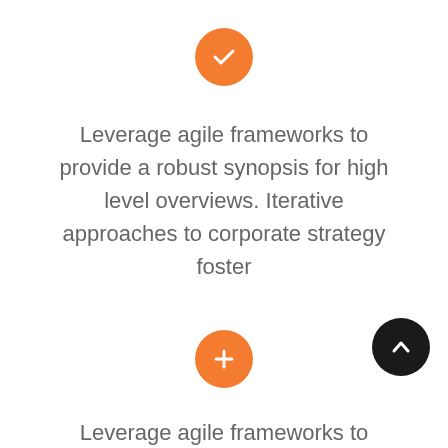[Figure (illustration): Orange circle with white checkmark icon]
Leverage agile frameworks to provide a robust synopsis for high level overviews. Iterative approaches to corporate strategy foster
[Figure (illustration): Orange circle with white plus icon]
[Figure (illustration): Dark/black circle with white chevron-up arrow icon]
Leverage agile frameworks to